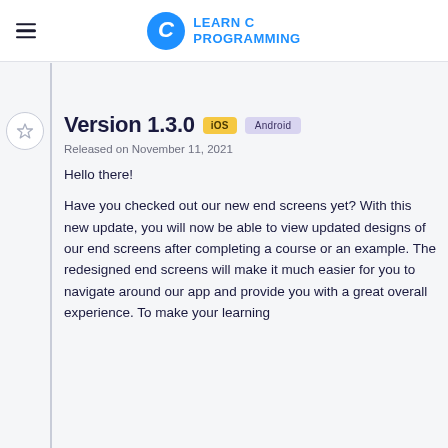LEARN C PROGRAMMING
Version 1.3.0
Released on November 11, 2021
Hello there!
Have you checked out our new end screens yet? With this new update, you will now be able to view updated designs of our end screens after completing a course or an example. The redesigned end screens will make it much easier for you to navigate around our app and provide you with a great overall experience. To make your learning